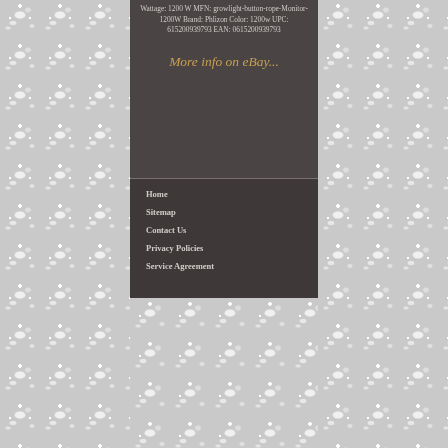Wattage: 1200 W MFN: growlight-button-rope-Monitor-1200W Brand: Phlizon Color: 1200w UPC: 615200939793 EAN: 0615200939793
More info on eBay...
Home
Sitemap
Contact Us
Privacy Policies
Service Agreement